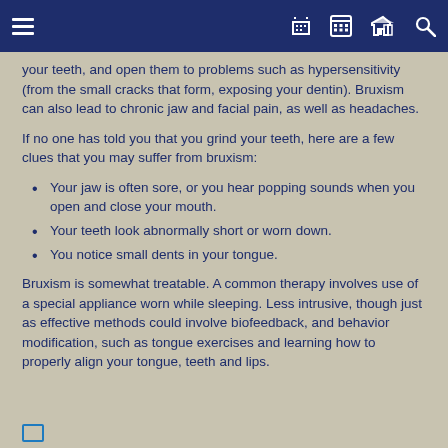Navigation bar with menu, phone, calendar, map, and search icons
your teeth, and open them to problems such as hypersensitivity (from the small cracks that form, exposing your dentin). Bruxism can also lead to chronic jaw and facial pain, as well as headaches.
If no one has told you that you grind your teeth, here are a few clues that you may suffer from bruxism:
Your jaw is often sore, or you hear popping sounds when you open and close your mouth.
Your teeth look abnormally short or worn down.
You notice small dents in your tongue.
Bruxism is somewhat treatable. A common therapy involves use of a special appliance worn while sleeping. Less intrusive, though just as effective methods could involve biofeedback, and behavior modification, such as tongue exercises and learning how to properly align your tongue, teeth and lips.